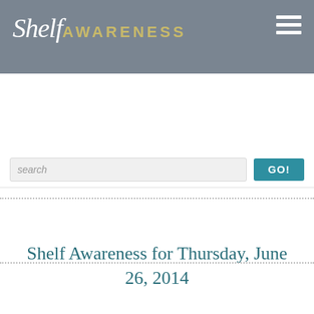Shelf AWARENESS
search
Shelf Awareness for Thursday, June 26, 2014
[Figure (illustration): Book advertisement banner for 'Cradles of the Reich' by Jennifer Coburn. Dark background with text: 'She Fought for the Resistance... NOW SHE HAS AN EVEN GREATER REASON TO FIGHT'. Book cover shown on right with teal 'REQUEST AN ARC!' button.]
[Figure (photo): Dark image with text 'New from the' at bottom, appears to be a book advertisement.]
[Figure (illustration): Teal/cyan background with text 'COMING THIS FALL!' in pink and a gold star icon below.]